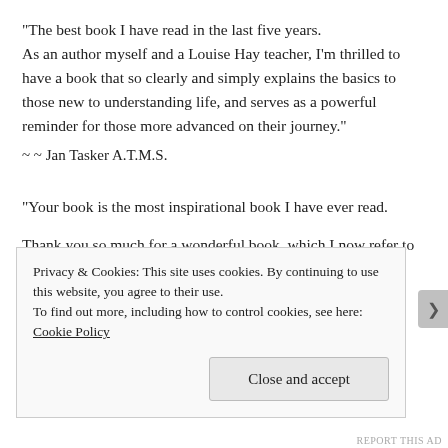"The best book I have read in the last five years. As an author myself and a Louise Hay teacher, I'm thrilled to have a book that so clearly and simply explains the basics to those new to understanding life, and serves as a powerful reminder for those more advanced on their journey."
~ ~ Jan Tasker A.T.M.S.
"Your book is the most inspirational book I have ever read.

Thank you so much for a wonderful book, which I now refer to as my bible."
Bill Venner, Orange, NSW
Privacy & Cookies: This site uses cookies. By continuing to use this website, you agree to their use.
To find out more, including how to control cookies, see here:
Cookie Policy
Close and accept